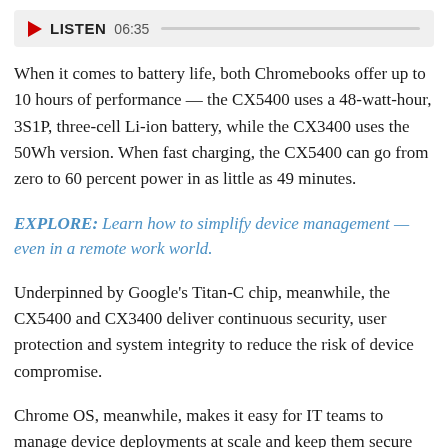[Figure (other): Audio player bar with red play triangle, LISTEN label, time 06:35, and progress track]
When it comes to battery life, both Chromebooks offer up to 10 hours of performance — the CX5400 uses a 48-watt-hour, 3S1P, three-cell Li-ion battery, while the CX3400 uses the 50Wh version. When fast charging, the CX5400 can go from zero to 60 percent power in as little as 49 minutes.
EXPLORE: Learn how to simplify device management — even in a remote work world.
Underpinned by Google's Titan-C chip, meanwhile, the CX5400 and CX3400 deliver continuous security, user protection and system integrity to reduce the risk of device compromise.
Chrome OS, meanwhile, makes it easy for IT teams to manage device deployments at scale and keep them secure wherever and however users are working. Automatic